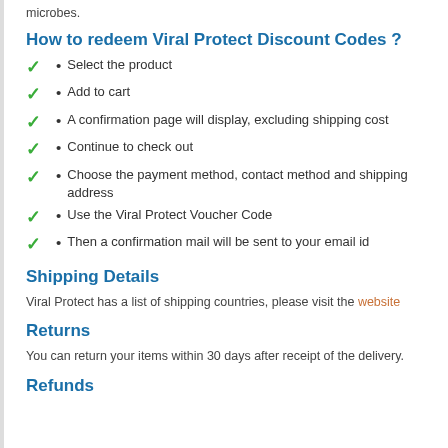microbes.
How to redeem Viral Protect Discount Codes ?
Select the product
Add to cart
A confirmation page will display, excluding shipping cost
Continue to check out
Choose the payment method, contact method and shipping address
Use the Viral Protect Voucher Code
Then a confirmation mail will be sent to your email id
Shipping Details
Viral Protect has a list of shipping countries, please visit the website
Returns
You can return your items within 30 days after receipt of the delivery.
Refunds